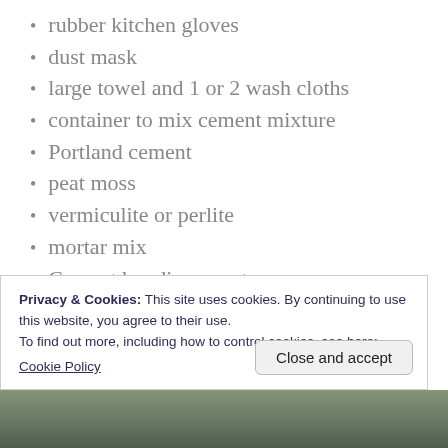rubber kitchen gloves
dust mask
large towel and 1 or 2 wash cloths
container to mix cement mixture
Portland cement
peat moss
vermiculite or perlite
mortar mix
Cement bonding agent
water (for mixing and clean-up)
Resources at end of post.
Privacy & Cookies: This site uses cookies. By continuing to use this website, you agree to their use.
To find out more, including how to control cookies, see here:
Cookie Policy
[Figure (photo): Bottom strip showing a partial photo, appears to be a garden or outdoor scene]